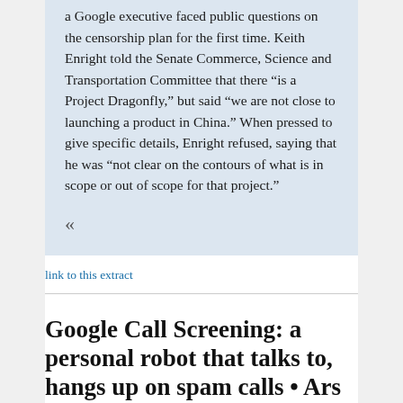a Google executive faced public questions on the censorship plan for the first time. Keith Enright told the Senate Commerce, Science and Transportation Committee that there “is a Project Dragonfly,” but said “we are not close to launching a product in China.” When pressed to give specific details, Enright refused, saying that he was “not clear on the contours of what is in scope or out of scope for that project.”
«
link to this extract
Google Call Screening: a personal robot that talks to, hangs up on spam calls • Ars